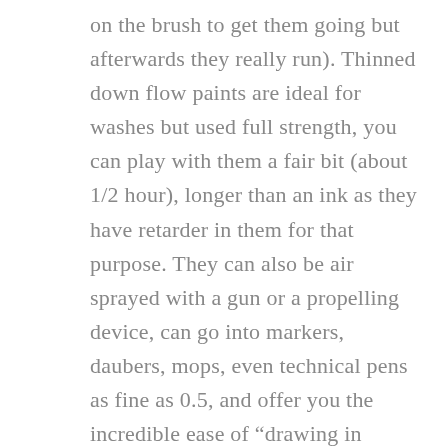on the brush to get them going but afterwards they really run). Thinned down flow paints are ideal for washes but used full strength, you can play with them a fair bit (about 1/2 hour), longer than an ink as they have retarder in them for that purpose. They can also be air sprayed with a gun or a propelling device, can go into markers, daubers, mops, even technical pens as fine as 0.5, and offer you the incredible ease of “drawing in paint” with nibs the size and shape you like. The most exciting part I think, is that you can mix them to any colour you want. Most acrylic markers like, say, Posca pens have rather basic colours, cost a fair bit and don’t last that long. The high flow acrylics not only go a long way, will end any nuance you like, be as archival as any other artist paint but also most mixes in your markers are still usable after weeks of neglect (from